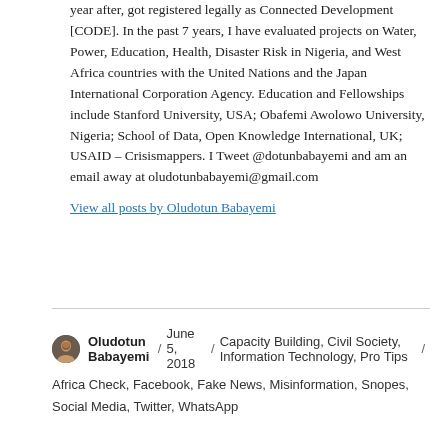year after, got registered legally as Connected Development [CODE]. In the past 7 years, I have evaluated projects on Water, Power, Education, Health, Disaster Risk in Nigeria, and West Africa countries with the United Nations and the Japan International Corporation Agency. Education and Fellowships include Stanford University, USA; Obafemi Awolowo University, Nigeria; School of Data, Open Knowledge International, UK; USAID – Crisismappers. I Tweet @dotunbabayemi and am an email away at oludotunbabayemi@gmail.com
View all posts by Oludotun Babayemi
Oludotun Babayemi / June 5, 2018 / Capacity Building, Civil Society, Information Technology, Pro Tips / Africa Check, Facebook, Fake News, Misinformation, Snopes, Social Media, Twitter, WhatsApp